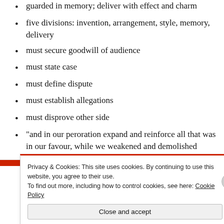guarded in memory; deliver with effect and charm
five divisions: invention, arrangement, style, memory, delivery
must secure goodwill of audience
must state case
must define dispute
must establish allegations
must disprove other side
“and in our peroration expand and reinforce all that was in our favour, while we weakened and demolished whatever went to support our
Privacy & Cookies: This site uses cookies. By continuing to use this website, you agree to their use.
To find out more, including how to control cookies, see here: Cookie Policy
Close and accept